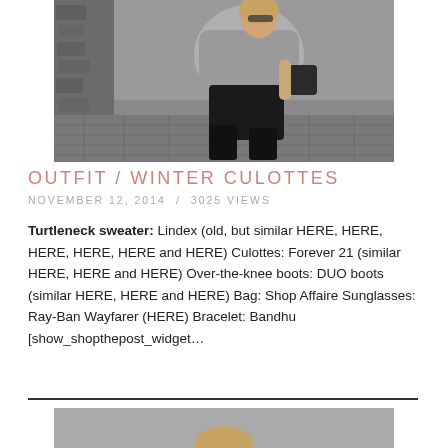[Figure (photo): Woman wearing gray turtleneck sweater, black culottes, over-the-knee boots, and carrying a black bag, posing outdoors against a stone wall on a cobblestone street.]
OUTFIT / WINTER CULOTTES
NOVEMBER 12, 2014  /  3025 VIEWS
Turtleneck sweater: Lindex (old, but similar HERE, HERE, HERE, HERE, HERE and HERE) Culottes: Forever 21 (similar HERE, HERE and HERE) Over-the-knee boots: DUO boots (similar HERE, HERE and HERE) Bag: Shop Affaire Sunglasses: Ray-Ban Wayfarer (HERE) Bracelet: Bandhu [show_shopthepost_widget…
[Figure (photo): Partial view of another outfit photo, showing just the top of a person's head (blonde hair).]